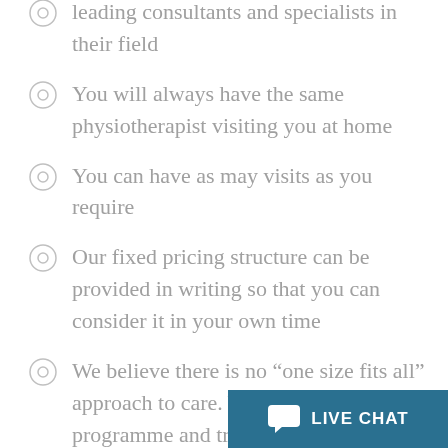Our team work closely with the country's leading consultants and specialists in their field
You will always have the same physiotherapist visiting you at home
You can have as may visits as you require
Our fixed pricing structure can be provided in writing so that you can consider it in your own time
We believe there is no “one size fits all” approach to care. Your personalised programme and treatment strategy will be unique to you